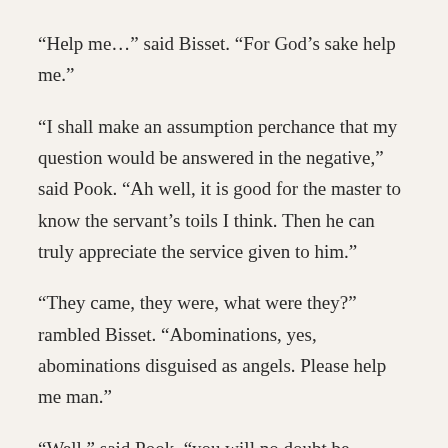“Help me…” said Bisset. “For God’s sake help me.”
“I shall make an assumption perchance that my question would be answered in the negative,” said Pook. “Ah well, it is good for the master to know the servant’s toils I think. Then he can truly appreciate the service given to him.”
“They came, they were, what were they?” rambled Bisset. “Abominations, yes, abominations disguised as angels. Please help me man.”
“Well,” said Pook, “you will no doubt be pleased, nay ecstatic, to hear that I am most certainly capable of offering you assistance. Indeed, as a precaution against just such an